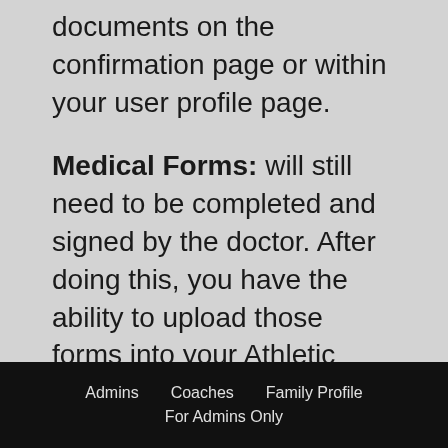documents on the confirmation page or within your user profile page.
Medical Forms: will still need to be completed and signed by the doctor. After doing this, you have the ability to upload those forms into your Athletic Participation Packet.
Admins   Coaches   Family Profile   For Admins Only